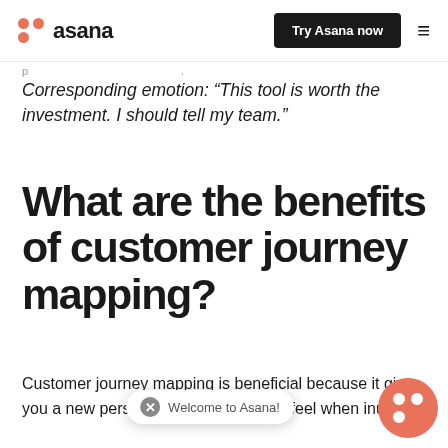asana | Try Asana now
Corresponding emotion: “This tool is worth the investment. I should tell my team.”
What are the benefits of customer journey mapping?
Customer journey mapping is beneficial because it gives you a new perspective on how your customers act, think, and feel when interacting with your